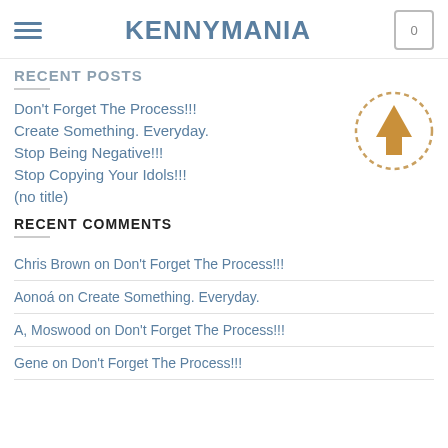KENNYMANIA
RECENT POSTS
Don't Forget The Process!!!
Create Something. Everyday.
Stop Being Negative!!!
Stop Copying Your Idols!!!
(no title)
[Figure (illustration): Upward arrow icon inside a dotted circle border, golden/tan color]
RECENT COMMENTS
Chris Brown on Don't Forget The Process!!!
Aonoá on Create Something. Everyday.
A, Moswood on Don't Forget The Process!!!
Gene on Don't Forget The Process!!!